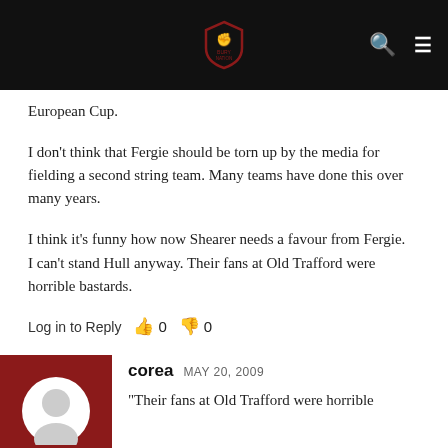[Figure (logo): Website logo with shield icon and site name on black header bar]
European Cup.
I don't think that Fergie should be torn up by the media for fielding a second string team. Many teams have done this over many years.
I think it's funny how now Shearer needs a favour from Fergie.
I can't stand Hull anyway. Their fans at Old Trafford were horrible bastards.
Log in to Reply   👍 0   👎 0
[Figure (photo): Red square avatar with white user silhouette icon]
corea   MAY 20, 2009
"Their fans at Old Trafford were horrible